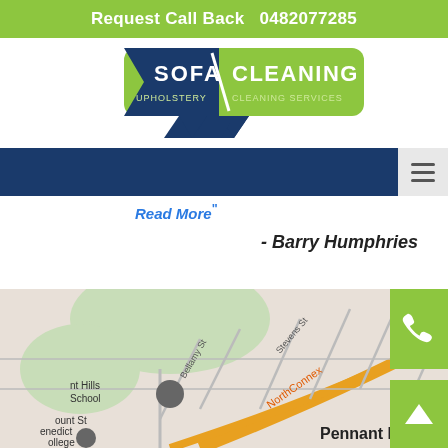Request Call Back   0482077285
[Figure (logo): Sofa Cleaning Upholstery Cleaning Services logo with dark blue chevron/arrow shapes and green rounded rectangle background]
[Figure (other): Dark blue navigation bar with hamburger menu icon on right side]
Read More"
- Barry Humphries
[Figure (map): Google Maps screenshot showing Thornleigh and Pennant Hills area in Sydney, Australia, with markers for Bunnings Thornleigh, Woolworths, KFC Pennant Hills, Mount St Benedict College, and NorthConnex road label. Also shows Bellamy St, Stevens St streets.]
[Figure (other): Green phone call button with white telephone handset icon]
[Figure (other): Green scroll-to-top button with white upward chevron/caret icon]